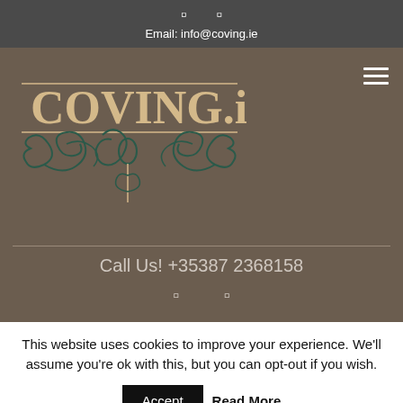Email: info@coving.ie
[Figure (logo): COVING.ie logo with decorative scrollwork and horizontal lines]
Call Us! +35387 2368158
This website uses cookies to improve your experience. We'll assume you're ok with this, but you can opt-out if you wish.
Accept   Read More